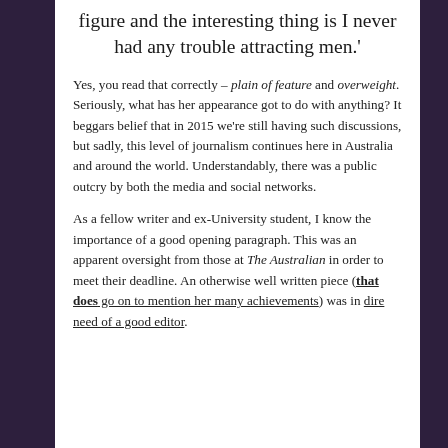figure and the interesting thing is I never had any trouble attracting men.'
Yes, you read that correctly – plain of feature and overweight. Seriously, what has her appearance got to do with anything? It beggars belief that in 2015 we're still having such discussions, but sadly, this level of journalism continues here in Australia and around the world. Understandably, there was a public outcry by both the media and social networks.
As a fellow writer and ex-University student, I know the importance of a good opening paragraph. This was an apparent oversight from those at The Australian in order to meet their deadline. An otherwise well written piece (that does go on to mention her many achievements) was in dire need of a good editor.